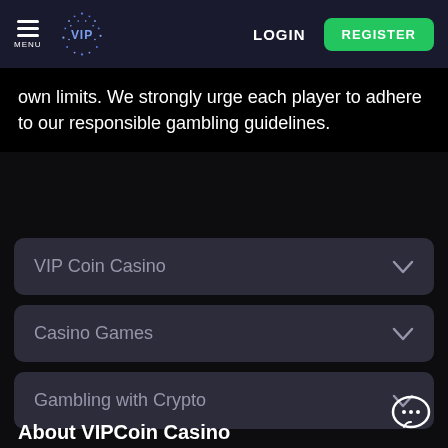MENU | VIP [logo] | LOGIN | REGISTER
own limits. We strongly urge each player to adhere to our responsible gambling guidelines.
VIP Coin Casino
Casino Games
Gambling with Crypto
About VIPCoin Casino